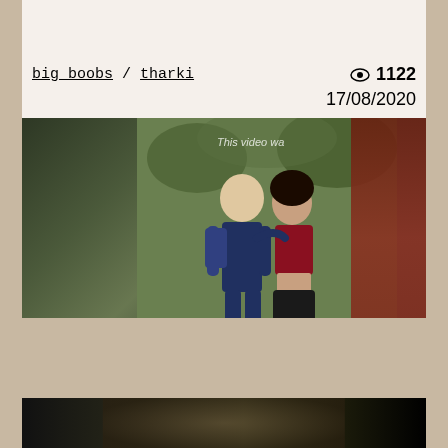big boobs / tharki
👁 1122
17/08/2020
[Figure (photo): Video thumbnail showing two people outdoors with blurred sides, watermarks reading 'This video was' and 'cinemamsika.com visit website...' and 'Made with VideoShow']
DESI HIDDEN CAUGHT 92 SEC
♥ 21
outdoor / moaning
👁 3891
08/11/2020
[Figure (photo): Partially visible video thumbnail at bottom of page]